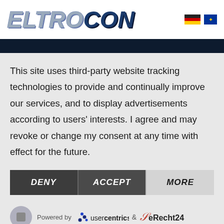[Figure (logo): ELTROCON logo with stylized italic text, ELTRO in light blue/gray and CON in dark navy blue]
[Figure (other): German flag and EU flag icons in the header top right]
This site uses third-party website tracking technologies to provide and continually improve our services, and to display advertisements according to users' interests. I agree and may revoke or change my consent at any time with effect for the future.
DENY
ACCEPT
MORE
[Figure (logo): Usercentrics logo with dot pattern and text, and eRecht24 logo]
Powered by